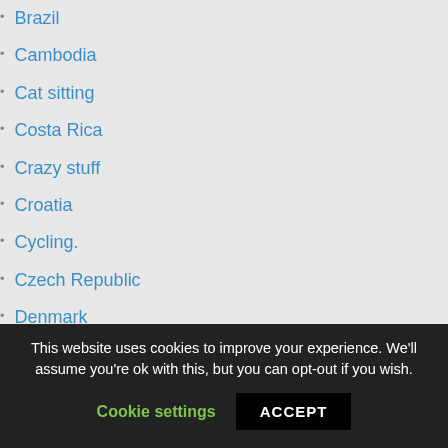Brazil
Cambodia
Cat sitting
Costa Rica
Crazy stuff
Croatia
Cycling.
Czech Republic
Denmark
Estonia
Finland
Food and drinks around the world
Football travel
France
This website uses cookies to improve your experience. We'll assume you're ok with this, but you can opt-out if you wish.